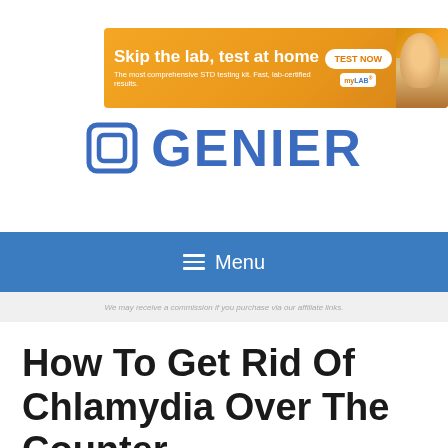[Figure (infographic): Advertisement banner: orange/yellow gradient background with woman photo, headline 'Skip the lab, test at home', subtext 'The most comprehensive STD testing kit. Fast, lab-certified results.', TEST NOW button, myLAB logo]
[Figure (logo): GENIER logo with blue square bracket icon and blue text 'GENIER' in bold]
≡  Menu
We may receive a commission if you purchase via our affiliate links.
How To Get Rid Of Chlamydia Over The Counter